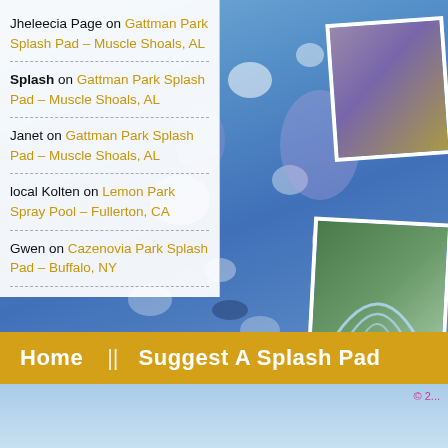[Figure (photo): Background splash pad water droplets blue sky photo]
Jheleecia Page on Gattman Park Splash Pad – Muscle Shoals, AL
Splash on Gattman Park Splash Pad – Muscle Shoals, AL
Janet on Gattman Park Splash Pad – Muscle Shoals, AL
local Kolten on Lemon Park Spray Pool – Fullerton, CA
Gwen on Cazenovia Park Splash Pad – Buffalo, NY
[Figure (photo): Small polaroid-style photo top right showing splash pad scene]
[Figure (photo): Small polaroid-style photo bottom right showing splash pad spray arches]
Home   Suggest A Splash Pad
© 2...